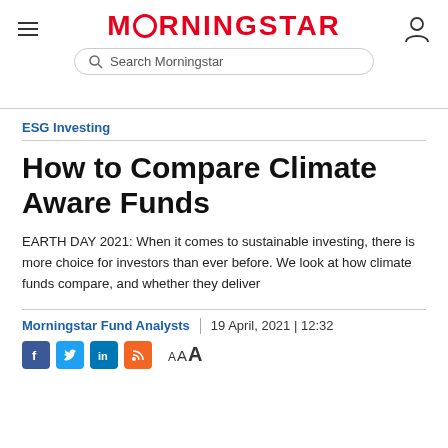MORNINGSTAR
ESG Investing
How to Compare Climate Aware Funds
EARTH DAY 2021: When it comes to sustainable investing, there is more choice for investors than ever before. We look at how climate funds compare, and whether they deliver
Morningstar Fund Analysts | 19 April, 2021 | 12:32